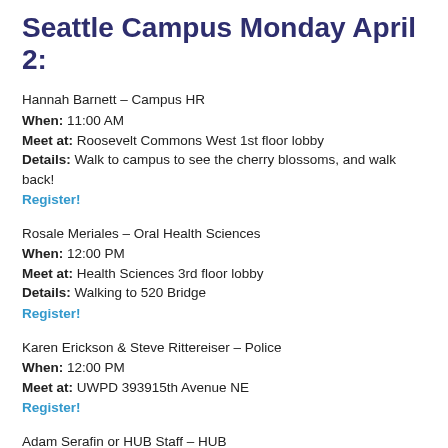Seattle Campus Monday April 2:
Hannah Barnett – Campus HR
When: 11:00 AM
Meet at: Roosevelt Commons West 1st floor lobby
Details: Walk to campus to see the cherry blossoms, and walk back!
Register!
Rosale Meriales – Oral Health Sciences
When: 12:00 PM
Meet at: Health Sciences 3rd floor lobby
Details: Walking to 520 Bridge
Register!
Karen Erickson & Steve Rittereiser – Police
When: 12:00 PM
Meet at: UWPD 393915th Avenue NE
Register!
Adam Serafin or HUB Staff – HUB
When: 12:00 PM
Meet at: HUBS, the Husky Statue outside the HUB